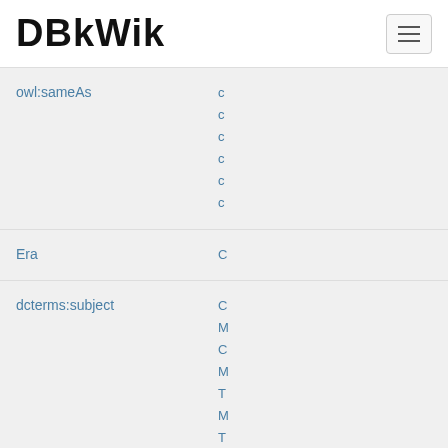DBkWik
owl:sameAs
c
c
c
c
c
c
Era
C
dcterms:subject
C
M
C
M
T
M
T
T
M